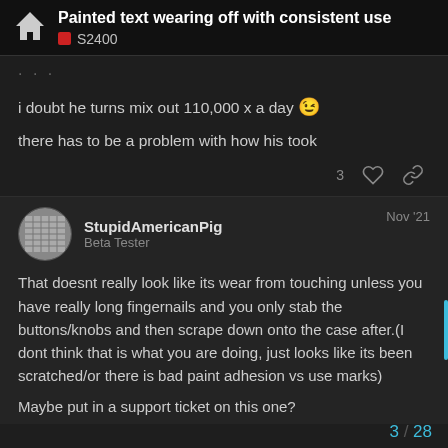Painted text wearing off with consistent use | S2400
i doubt he turns mix out 110,000 x a day 😉
there has to be a problem with how his took
StupidAmericanPig  Beta Tester  Nov '21
That doesnt really look like its wear from touching unless you have really long fingernails and you only stab the buttons/knobs and then scrape down onto the case after.(I dont think that is what you are doing, just looks like its been scratched/or there is bad paint adhesion vs use marks)
Maybe put in a support ticket on this one?
3 / 28